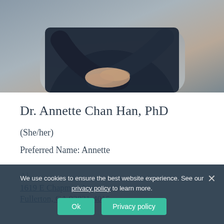[Figure (photo): Photo of a person with arms crossed, wearing dark clothing, seated against a neutral background. Only the torso and arms are visible.]
Dr. Annette Chan Han, PhD
(She/her)
Preferred Name: Annette
Al... (partially obscured by cookie banner)
1619 E Chapman A... (partially obscured)
Fullerton, CA 92831-4015
We use cookies to ensure the best website experience. See our privacy policy to learn more.